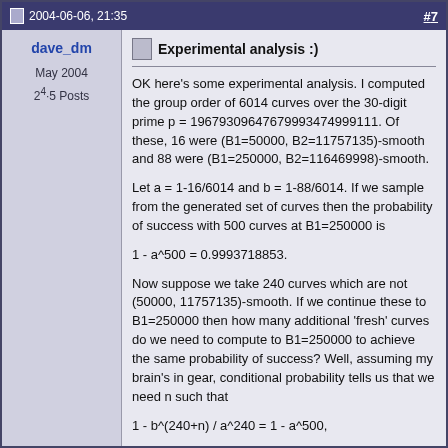2004-06-06, 21:35   #7
dave_dm
May 2004
2^4·5 Posts
Experimental analysis :)
OK here's some experimental analysis. I computed the group order of 6014 curves over the 30-digit prime p = 19679309647679993474999111. Of these, 16 were (B1=50000, B2=11757135)-smooth and 88 were (B1=250000, B2=116469998)-smooth.
Let a = 1-16/6014 and b = 1-88/6014. If we sample from the generated set of curves then the probability of success with 500 curves at B1=250000 is
Now suppose we take 240 curves which are not (50000, 11757135)-smooth. If we continue these to B1=250000 then how many additional 'fresh' curves do we need to compute to B1=250000 to achieve the same probability of success? Well, assuming my brain's in gear, conditional probability tells us that we need n such that